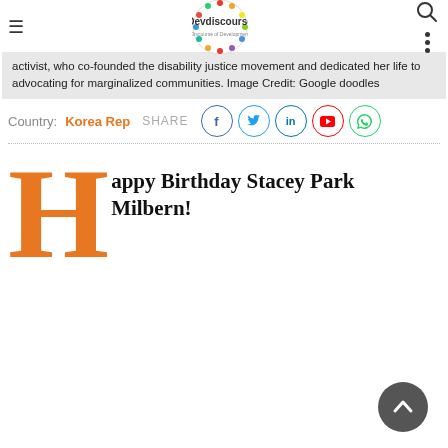Devdiscourse — Discourse of Development
activist, who co-founded the disability justice movement and dedicated her life to advocating for marginalized communities. Image Credit: Google doodles
Country: Korea Rep   SHARE
Happy Birthday Stacey Park Milbern!